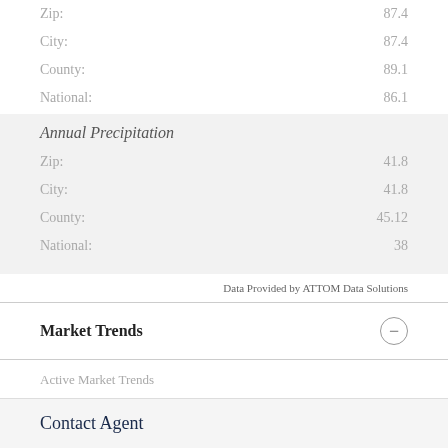Zip: 87.4
City: 87.4
County: 89.1
National: 86.1
Annual Precipitation
Zip: 41.8
City: 41.8
County: 45.12
National: 38
Data Provided by ATTOM Data Solutions
Market Trends
Active Market Trends
Median list price
Contact Agent